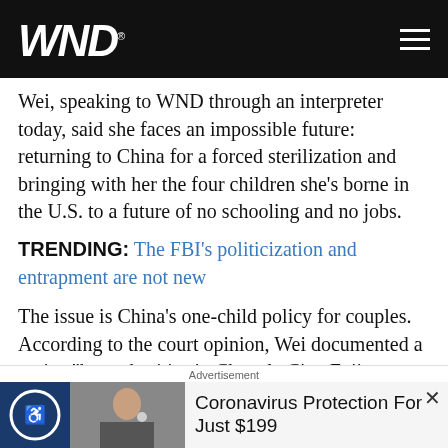WND
Wei, speaking to WND through an interpreter today, said she faces an impossible future: returning to China for a forced sterilization and bringing with her the four children she's borne in the U.S. to a future of no schooling and no jobs.
TRENDING: The FBI's politicization and entrapment are not new
The issue is China's one-child policy for couples. According to the court opinion, Wei documented a notice "by authorities in Changle City, Fujian Province (her
Advertisement
Coronavirus Protection For Just $199